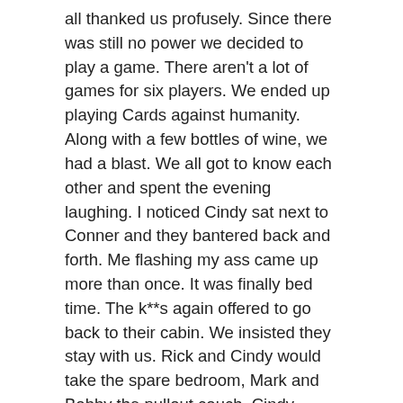all thanked us profusely. Since there was still no power we decided to play a game. There aren't a lot of games for six players. We ended up playing Cards against humanity. Along with a few bottles of wine, we had a blast. We all got to know each other and spent the evening laughing. I noticed Cindy sat next to Conner and they bantered back and forth. Me flashing my ass came up more than once. It was finally bed time. The k**s again offered to go back to their cabin. We insisted they stay with us. Rick and Cindy would take the spare bedroom, Mark and Bobby the pullout couch. Cindy suggested that they go back to their cabin and get some stuff to wear. . I told them I could find stuff for tonight it was still snowing and too cold to go back. They all thanked me. I rummaged around in my room and came up with some gym shorts for the boys and one of Conner's T-shirts for Cindy. I brought them out and handed them to the k**s. Cindy went to the bathroom to change. The boys just started undressing right in the living room in front of me. I don't think they meant anything by it but they just weren't thinking.I watch them take off their shirts. They were all long and lean with hard abs. I found myself admiring their bodies. All of a sudden I caught myself, excused myself, and went into